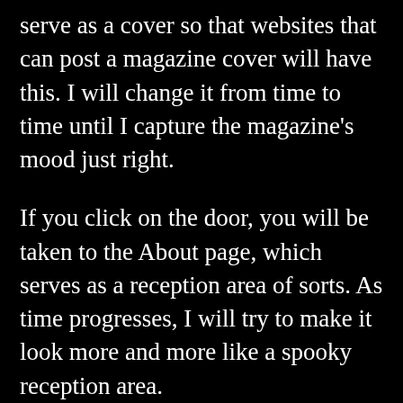serve as a cover so that websites that can post a magazine cover will have this. I will change it from time to time until I capture the magazine's mood just right.
If you click on the door, you will be taken to the About page, which serves as a reception area of sorts. As time progresses, I will try to make it look more and more like a spooky reception area.
On the about page, I have replaced the photo that was at the top with a video I made using Kizoa, Pixabay, and YouTube. With this I am trying to give the viewer a virtual entrance into The